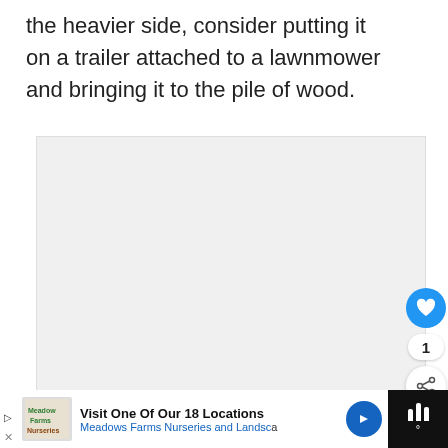the heavier side, consider putting it on a trailer attached to a lawnmower and bringing it to the pile of wood.
[Figure (other): Large empty light gray image/video placeholder area with three small gray dots at the bottom center, a blue heart/like button on the right, a count of 1, and a share button below.]
[Figure (screenshot): WHAT'S NEXT panel showing a thumbnail of a small bathroom and the text 'Small bathrooms...']
[Figure (infographic): Bottom ad bar: 'Visit One Of Our 18 Locations - Meadows Farms Nurseries and Landsc...' with blue directional arrow icon, and a dark weather widget on the right.]